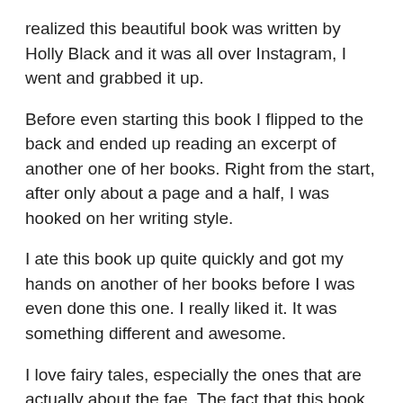realized this beautiful book was written by Holly Black and it was all over Instagram, I went and grabbed it up.
Before even starting this book I flipped to the back and ended up reading an excerpt of another one of her books. Right from the start, after only about a page and a half, I was hooked on her writing style.
I ate this book up quite quickly and got my hands on another of her books before I was even done this one. I really liked it. It was something different and awesome.
I love fairy tales, especially the ones that are actually about the fae. The fact that this book meshed the real world we live in with the fairy world was so cool and really well done. It had fairies, royalty, death, destruction, and the race to save the ones you love. It was magical.
The only problem I had with this one was the bits about high school. I'm a little over the other side of the hill in age and reading about kids in school was harder to connect with, but I didn't let that little detail bug me too much.